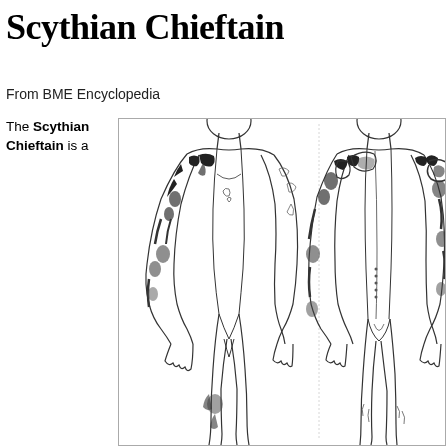Scythian Chieftain
From BME Encyclopedia
The Scythian Chieftain is a
[Figure (illustration): Line drawing illustration showing front and back views of a human body figure with extensive tattoo designs covering the arms, shoulders, and lower leg. The tattoos feature intricate Scythian animal-style motifs. The left image shows the front view and the right shows the back view.]